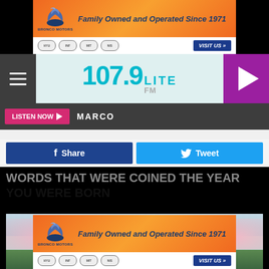[Figure (other): Bronco Motors advertisement banner - Family Owned and Operated Since 1971, with car brand logos (Hyundai, Infiniti, Mitsubishi, Nissan) and VISIT US button]
[Figure (logo): 107.9 Lite FM radio station logo in teal/cyan color]
LISTEN NOW ► MARCO
f Share
Tweet
WORDS THAT WERE COINED THE YEAR YOU WERE BORN
[Figure (photo): Cherry blossom trees in full bloom with a person standing in front viewing them]
[Figure (other): Bronco Motors advertisement banner - Family Owned and Operated Since 1971, with car brand logos and VISIT US button]